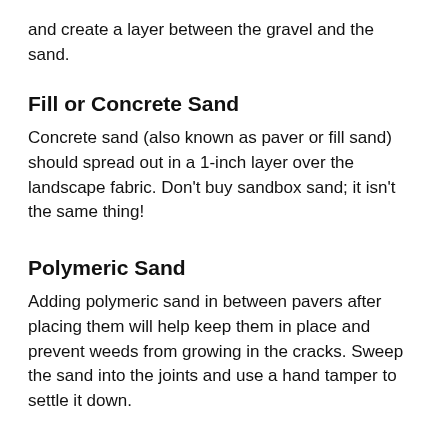and create a layer between the gravel and the sand.
Fill or Concrete Sand
Concrete sand (also known as paver or fill sand) should spread out in a 1-inch layer over the landscape fabric. Don't buy sandbox sand; it isn't the same thing!
Polymeric Sand
Adding polymeric sand in between pavers after placing them will help keep them in place and prevent weeds from growing in the cracks. Sweep the sand into the joints and use a hand tamper to settle it down.